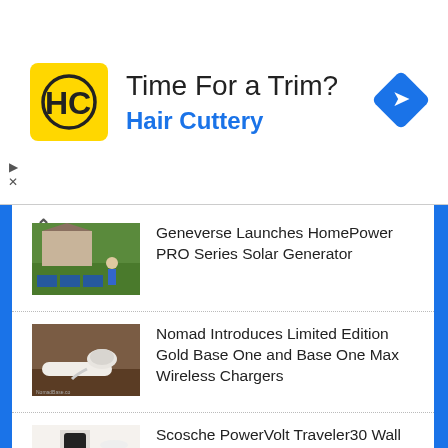[Figure (other): Advertisement banner for Hair Cuttery with logo, 'Time For a Trim?' headline, and navigation icon]
Time For a Trim?
Hair Cuttery
Geneverse Launches HomePower PRO Series Solar Generator
Nomad Introduces Limited Edition Gold Base One and Base One Max Wireless Chargers
Scosche PowerVolt Traveler30 Wall and Car Travel Charger Review: Now You Can Power Up Almost Everywhere